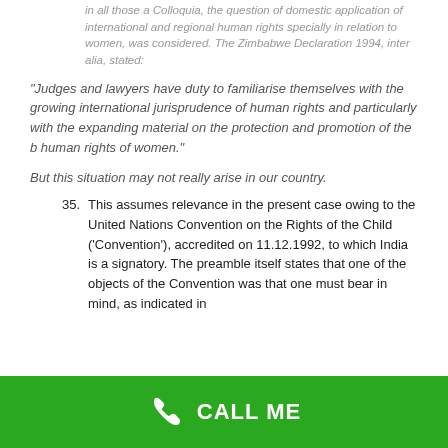in all those a Colloquia, the question of domestic application of international and regional human rights specially in relation to women, was considered. The Zimbabwe Declaration 1994, inter alia, stated:
“Judges and lawyers have duty to familiarise themselves with the growing international jurisprudence of human rights and particularly with the expanding material on the protection and promotion of the b human rights of women.”
But this situation may not really arise in our country.
35. This assumes relevance in the present case owing to the United Nations Convention on the Rights of the Child (‘Convention’), accredited on 11.12.1992, to which India is a signatory. The preamble itself states that one of the objects of the Convention was that one must bear in mind, as indicated in
CALL ME